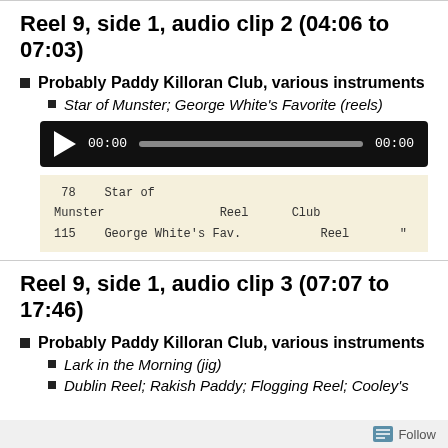Reel 9, side 1, audio clip 2 (04:06 to 07:03)
Probably Paddy Killoran Club, various instruments
Star of Munster; George White's Favorite (reels)
[Figure (other): Audio player widget with play button, time counter 00:00, progress bar, and end time 00:00 on black background]
[Figure (other): Catalog card image: 78 Star of Munster Reel Club / 115 George White's Fav. Reel "]
Reel 9, side 1, audio clip 3 (07:07 to 17:46)
Probably Paddy Killoran Club, various instruments
Lark in the Morning (jig)
Dublin Reel; Rakish Paddy; Flogging Reel; Cooley's
Follow